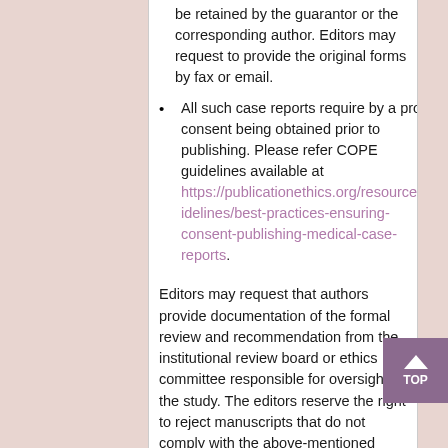be retained by the guarantor or the corresponding author. Editors may request to provide the original forms by fax or email.
All such case reports require by a proper consent being obtained prior to publishing. Please refer COPE guidelines available at https://publicationethics.org/resources/guidelines/best-practices-ensuring-consent-publishing-medical-case-reports.
Editors may request that authors provide documentation of the formal review and recommendation from the institutional review board or ethics committee responsible for oversight of the study. The editors reserve the right to reject manuscripts that do not comply with the above-mentioned requirements. The author will be held responsible for false statements or failure to fulfill the above-mentioned requirements.